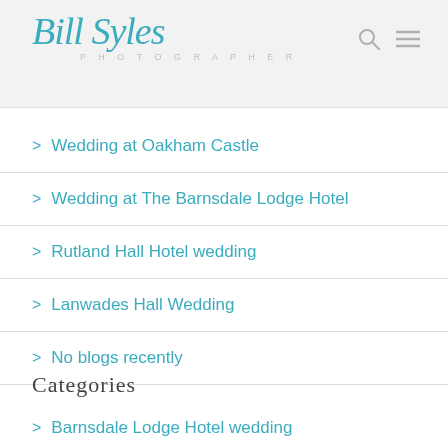Bill Sykes PHOTOGRAPHER
Wedding at Oakham Castle
Wedding at The Barnsdale Lodge Hotel
Rutland Hall Hotel wedding
Lanwades Hall Wedding
No blogs recently
Categories
Barnsdale Lodge Hotel wedding